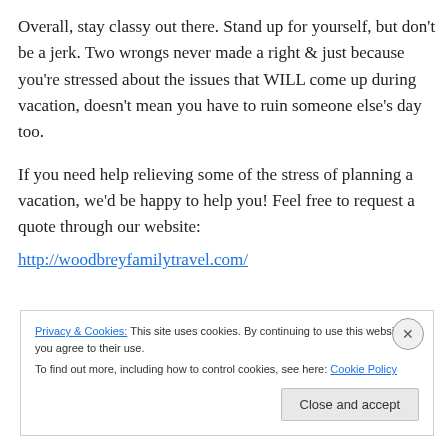Overall, stay classy out there. Stand up for yourself, but don't be a jerk. Two wrongs never made a right & just because you're stressed about the issues that WILL come up during vacation, doesn't mean you have to ruin someone else's day too.
If you need help relieving some of the stress of planning a vacation, we'd be happy to help you! Feel free to request a quote through our website:
http://woodbreyfamilytravel.com/
Privacy & Cookies: This site uses cookies. By continuing to use this website, you agree to their use.
To find out more, including how to control cookies, see here: Cookie Policy